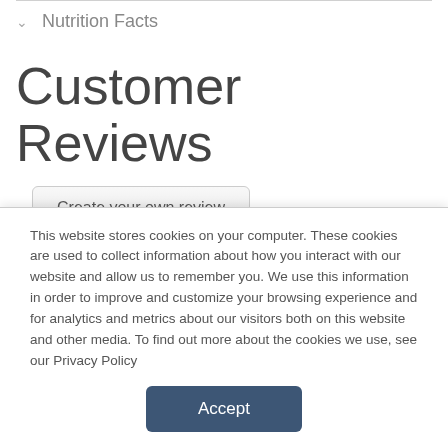Nutrition Facts
Customer Reviews
Create your own review
MARICH® Confectionery
This website stores cookies on your computer. These cookies are used to collect information about how you interact with our website and allow us to remember you. We use this information in order to improve and customize your browsing experience and for analytics and metrics about our visitors both on this website and other media. To find out more about the cookies we use, see our Privacy Policy
Accept